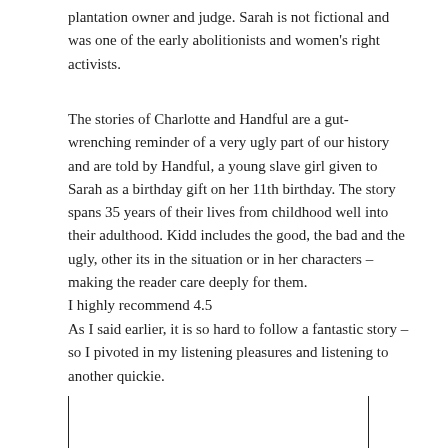plantation owner and judge. Sarah is not fictional and was one of the early abolitionists and women's right activists.
The stories of Charlotte and Handful are a gut-wrenching reminder of a very ugly part of our history and are told by Handful, a young slave girl given to Sarah as a birthday gift on her 11th birthday. The story spans 35 years of their lives from childhood well into their adulthood. Kidd includes the good, the bad and the ugly, other its in the situation or in her characters – making the reader care deeply for them.
I highly recommend 4.5
As I said earlier, it is so hard to follow a fantastic story – so I pivoted in my listening pleasures and listening to another quickie.